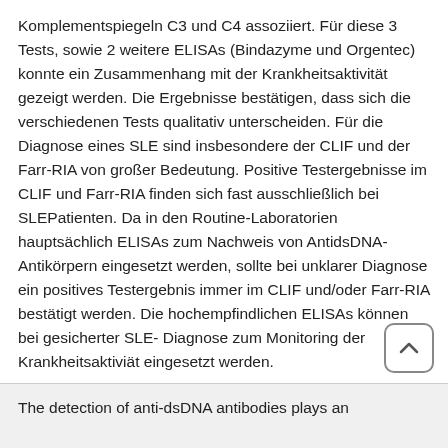Komplementspiegeln C3 und C4 assoziiert. Für diese 3 Tests, sowie 2 weitere ELISAs (Bindazyme und Orgentec) konnte ein Zusammenhang mit der Krankheitsaktivität gezeigt werden. Die Ergebnisse bestätigen, dass sich die verschiedenen Tests qualitativ unterscheiden. Für die Diagnose eines SLE sind insbesondere der CLIF und der Farr-RIA von großer Bedeutung. Positive Testergebnisse im CLIF und Farr-RIA finden sich fast ausschließlich bei SLEPatienten. Da in den Routine-Laboratorien hauptsächlich ELISAs zum Nachweis von AntidsDNA- Antikörpern eingesetzt werden, sollte bei unklarer Diagnose ein positives Testergebnis immer im CLIF und/oder Farr-RIA bestätigt werden. Die hochempfindlichen ELISAs können bei gesicherter SLE- Diagnose zum Monitoring der Krankheitsaktiviät eingesetzt werden.
The detection of anti-dsDNA antibodies plays an